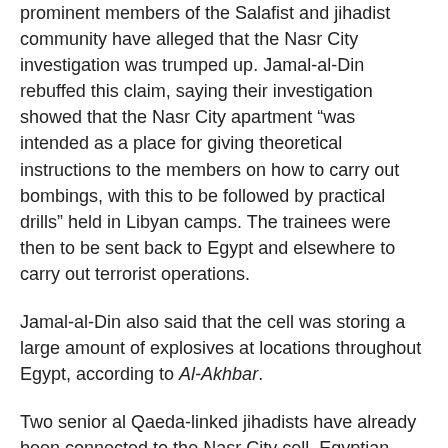prominent members of the Salafist and jihadist community have alleged that the Nasr City investigation was trumped up. Jamal-al-Din rebuffed this claim, saying their investigation showed that the Nasr City apartment "was intended as a place for giving theoretical instructions to the members on how to carry out bombings, with this to be followed by practical drills" held in Libyan camps. The trainees were then to be sent back to Egypt and elsewhere to carry out terrorist operations.
Jamal-al-Din also said that the cell was storing a large amount of explosives at locations throughout Egypt, according to Al-Akhbar.
Two senior al Qaeda-linked jihadists have already been connected to the Nasr City cell. Egyptian officials previously arrested Sheikh ‘Adel Shehato, an Egyptian Islamic Jihad (EIJ) official who has openly proclaimed his allegiance to al Qaeda's